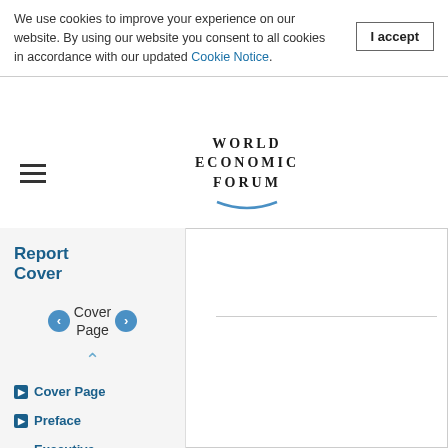We use cookies to improve your experience on our website. By using our website you consent to all cookies in accordance with our updated Cookie Notice.
I accept
[Figure (logo): World Economic Forum logo with text WORLD ECONOMIC FORUM and arc underline]
Report Cover
Cover Page
Cover Page
Preface
Executive Summary
Part 1: Findings